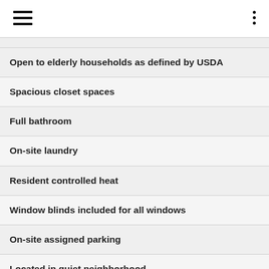Open to elderly households as defined by USDA
Spacious closet spaces
Full bathroom
On-site laundry
Resident controlled heat
Window blinds included for all windows
On-site assigned parking
Located in quiet neighborhood
Rental assistance may be available